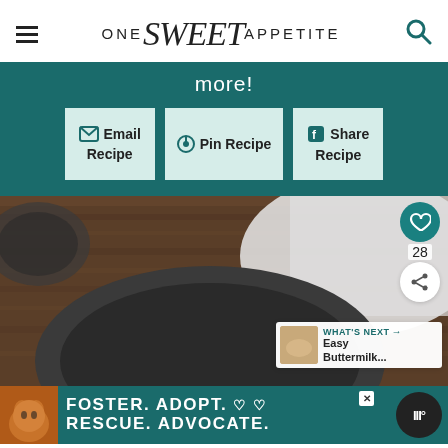ONE Sweet APPETITE (site header with hamburger menu and search icon)
more!
Email Recipe
Pin Recipe
Share Recipe
[Figure (photo): Overhead photo of a dark grey ceramic plate and white cloth napkin on a wooden surface]
28
WHAT'S NEXT → Easy Buttermilk...
FOSTER. ADOPT. ♡ ♡ RESCUE. ADVOCATE.